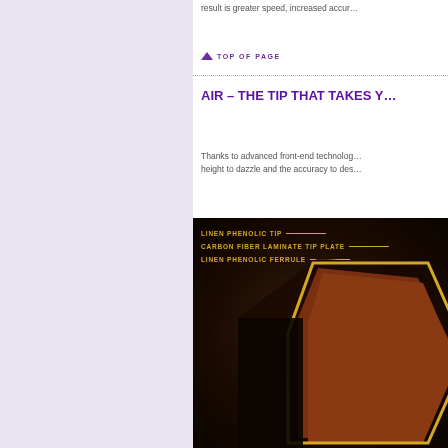result is greater speed, increased accur…
TOP OF PAGE
AIR – THE TIP THAT TAKES Y…
Thanks to advanced front-end technolo… height to dazzle and the accuracy to des…
[Figure (engineering-diagram): Cross-section diagram of a billiard cue tip showing labeled components: Linen Phenolic Tip, Carbon Fiber Laminate Tip Plate, Linen Phenolic Ferrule. The tip is shown with a yellow border outline against a dark brown background.]